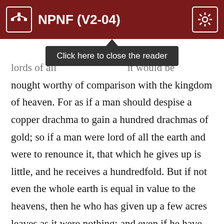NPNF (V2-04)
[Figure (screenshot): Tooltip overlay reading 'Click here to close the reader' with dark background and upward arrow]
lords of all ... it would be nought worthy of comparison with the kingdom of heaven. For as if a man should despise a copper drachma to gain a hundred drachmas of gold; so if a man were lord of all the earth and were to renounce it, that which he gives up is little, and he receives a hundredfold. But if not even the whole earth is equal in value to the heavens, then he who has given up a few acres leaves as it were nothing; and even if he have given up a house or much gold he ought not to boast nor be low-spirited. Further, we should consider that even if we do not relinquish them for virtue's sake, still afterwards when we die